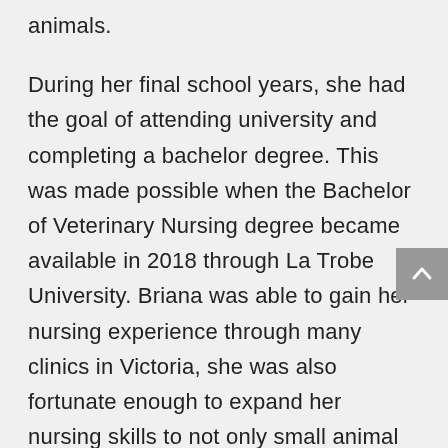animals.

During her final school years, she had the goal of attending university and completing a bachelor degree. This was made possible when the Bachelor of Veterinary Nursing degree became available in 2018 through La Trobe University. Briana was able to gain her nursing experience through many clinics in Victoria, she was also fortunate enough to expand her nursing skills to not only small animal practice but to horses and cattle while completing placement in rural Victoria.

Briana has a strong interest in surgical